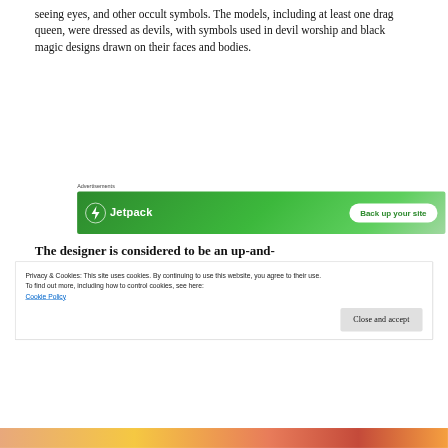seeing eyes, and other occult symbols. The models, including at least one drag queen, were dressed as devils, with symbols used in devil worship and black magic designs drawn on their faces and bodies.
[Figure (screenshot): Jetpack advertisement banner with green gradient background, Jetpack logo with lightning bolt icon, and 'Back up your site' button]
The designer is considered to be an up-and-
Privacy & Cookies: This site uses cookies. By continuing to use this website, you agree to their use.
To find out more, including how to control cookies, see here:
Cookie Policy
Close and accept